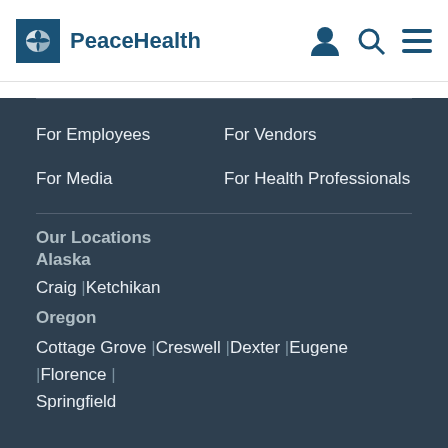[Figure (logo): PeaceHealth logo with dove icon in blue square and PeaceHealth text in blue]
For Employees
For Vendors
For Media
For Health Professionals
Our Locations
Alaska
Craig | Ketchikan
Oregon
Cottage Grove | Creswell | Dexter | Eugene | Florence | Springfield